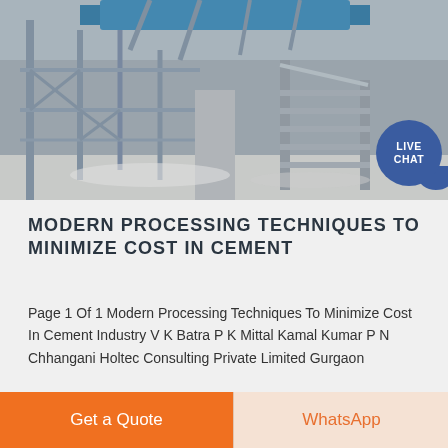[Figure (photo): Industrial cement processing facility with metal scaffolding, stairs, and conveyor equipment; grey/white industrial setting with blue machinery visible at top.]
MODERN PROCESSING TECHNIQUES TO MINIMIZE COST IN CEMENT
Page 1 Of 1 Modern Processing Techniques To Minimize Cost In Cement Industry V K Batra P K Mittal Kamal Kumar P N Chhangani Holtec Consulting Private Limited Gurgaon
Get a Quote
WhatsApp